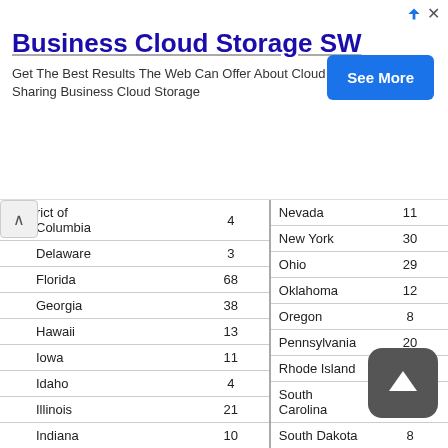[Figure (screenshot): Advertisement banner for 'Business Cloud Storage SW' with a blue 'See More' button and text about cloud storage and file sharing.]
| State/Territory | Count |
| --- | --- |
| District of Columbia | 4 |
| Delaware | 3 |
| Florida | 68 |
| Georgia | 38 |
| Hawaii | 13 |
| Iowa | 11 |
| Idaho | 4 |
| Illinois | 21 |
| Indiana | 10 |
| Kansas | 10 |
| Kentucky | 16 |
| Louisiana | 18 |
| Massachusetts | 14 |
| Maryland | 19 |
| Nevada | 11 |
| New York | 30 |
| Ohio | 29 |
| Oklahoma | 12 |
| Oregon | 8 |
| Pennsylvania | 20 |
| Rhode Island | 4 |
| South Carolina | 19 |
| South Dakota | 8 |
| Tennessee | 13 |
| Texas | 69 |
| Utah | 5 |
| Virginia |  |
| Vermont |  |
| Washington | 21 |